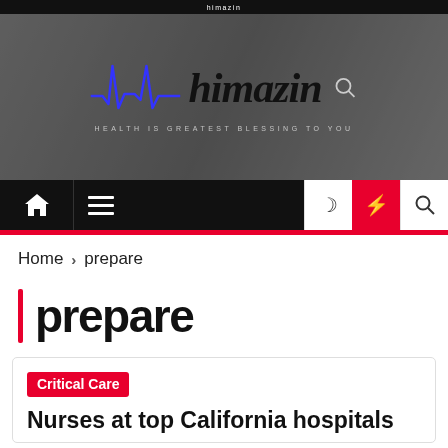himazin — HEALTH IS GREATEST BLESSING TO YOU
[Figure (logo): Himazin health website logo with ECG waveform in blue and brand name in italic serif font, with tagline 'HEALTH IS GREATEST BLESSING TO YOU']
[Figure (screenshot): Navigation bar with home icon, hamburger menu, moon icon, lightning bolt (red), and search icon]
Home > prepare
prepare
Critical Care
Nurses at top California hospitals